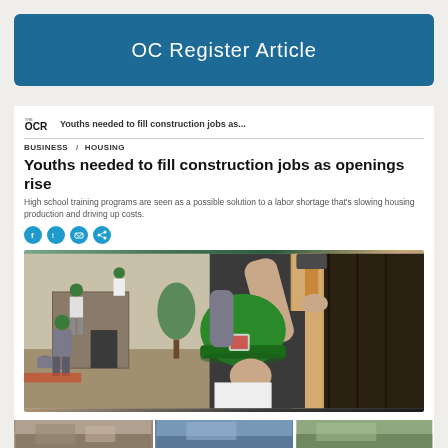OC Register Article
OCR  Youths needed to fill construction jobs as...
BUSINESS  HOUSING
Youths needed to fill construction jobs as openings rise
High school training programs are seen as a possible solution to a labor shortage that's slowing housing production and driving up costs.
[Figure (photo): A young person wearing a green hard hat uses a hammer on a construction project; other workers with green hard hats visible in background outdoor construction site]
[Figure (photo): Bottom strip showing partial views of additional construction-related photos]